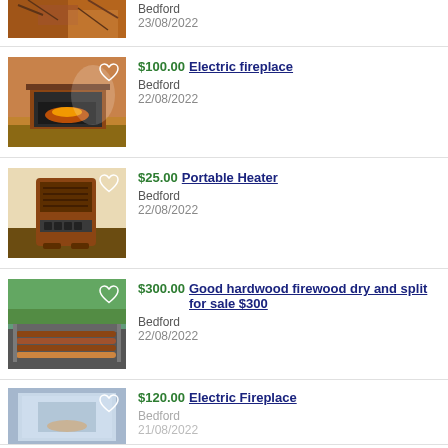[Figure (photo): Partial listing image of firewood/wood chips, cropped at top]
Bedford
23/08/2022
[Figure (photo): Photo of an electric fireplace in a room with orange walls and wood floor]
$100.00 Electric fireplace
Bedford
22/08/2022
[Figure (photo): Photo of a portable infrared heater, dark wood cabinet style]
$25.00 Portable Heater
Bedford
22/08/2022
[Figure (photo): Photo of a truck bed loaded with split firewood, outdoors with trees]
$300.00 Good hardwood firewood dry and split for sale $300
Bedford
22/08/2022
[Figure (photo): Partial photo of an electric fireplace, cropped at bottom]
$120.00 Electric Fireplace
Bedford
21/08/2022